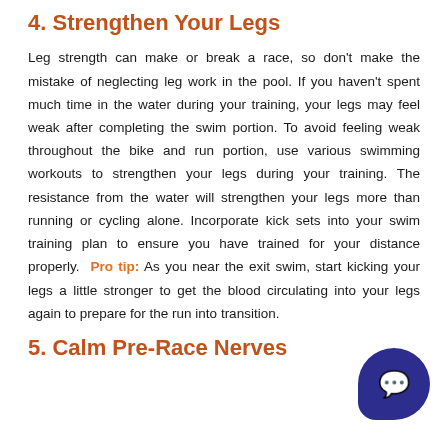4. Strengthen Your Legs
Leg strength can make or break a race, so don't make the mistake of neglecting leg work in the pool. If you haven't spent much time in the water during your training, your legs may feel weak after completing the swim portion. To avoid feeling weak throughout the bike and run portion, use various swimming workouts to strengthen your legs during your training. The resistance from the water will strengthen your legs more than running or cycling alone. Incorporate kick sets into your swim training plan to ensure you have trained for your distance properly. Pro tip: As you near the exit swim, start kicking your legs a little stronger to get the blood circulating into your legs again to prepare for the run into transition.
5. Calm Pre-Race Nerves